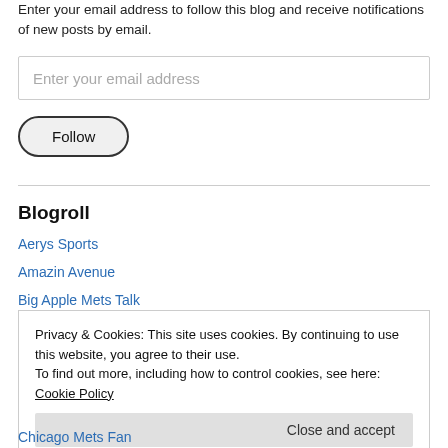Enter your email address to follow this blog and receive notifications of new posts by email.
[Figure (other): Email input field with placeholder text 'Enter your email address']
[Figure (other): Follow button with rounded border]
Blogroll
Aerys Sports
Amazin Avenue
Big Apple Mets Talk
Privacy & Cookies: This site uses cookies. By continuing to use this website, you agree to their use.
To find out more, including how to control cookies, see here: Cookie Policy
Chicago Mets Fan